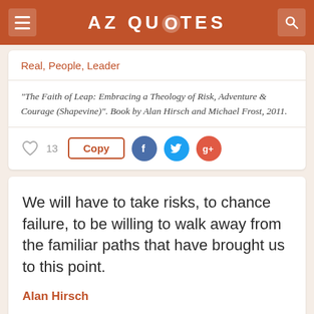AZ QUOTES
Real, People, Leader
"The Faith of Leap: Embracing a Theology of Risk, Adventure & Courage (Shapevine)". Book by Alan Hirsch and Michael Frost, 2011.
13  Copy
We will have to take risks, to chance failure, to be willing to walk away from the familiar paths that have brought us to this point.
Alan Hirsch
Risk, Path, Chance